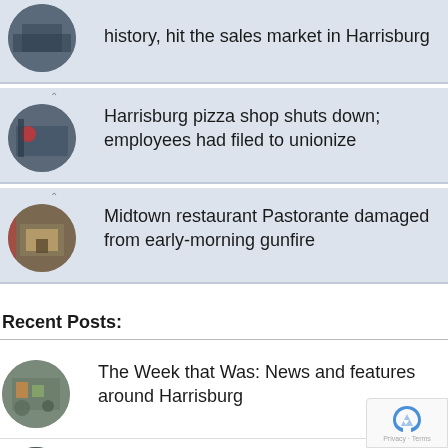history, hit the sales market in Harrisburg
Harrisburg pizza shop shuts down; employees had filed to unionize
Midtown restaurant Pastorante damaged from early-morning gunfire
Recent Posts:
The Week that Was: News and features around Harrisburg
State press association names TheBurg "2022